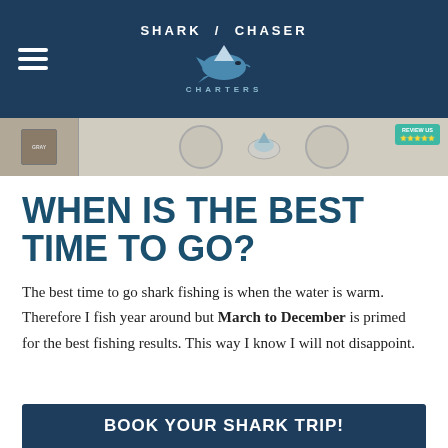Shark Chaser Charters
[Figure (photo): Banner photo showing boat equipment including speakers and a shark charter review badge]
WHEN IS THE BEST TIME TO GO?
The best time to go shark fishing is when the water is warm. Therefore I fish year around but March to December is primed for the best fishing results. This way I know I will not disappoint.
BOOK YOUR SHARK TRIP!